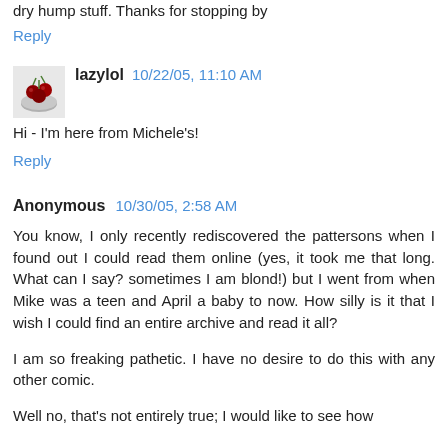dry hump stuff. Thanks for stopping by
Reply
[Figure (photo): Avatar image of a bowl of cherries]
lazylol  10/22/05, 11:10 AM
Hi - I'm here from Michele's!
Reply
Anonymous  10/30/05, 2:58 AM
You know, I only recently rediscovered the pattersons when I found out I could read them online (yes, it took me that long. What can I say? sometimes I am blond!) but I went from when Mike was a teen and April a baby to now. How silly is it that I wish I could find an entire archive and read it all?
I am so freaking pathetic. I have no desire to do this with any other comic.
Well no, that's not entirely true; I would like to see how